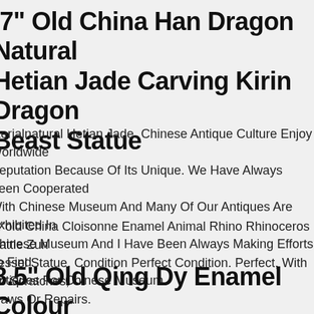.7" Old China Han Dragon Natural Hetian Jade Carving Kirin Dragon Beast Statue
aterialnatural Hetian Jade. Chinese Antique Culture Enjoy Worldwide Reputation Because Of Its Unique. We Have Always Been Cooperated With Chinese Museum And Many Of Our Antiques Are Exhibited In Chinese Museum And I Have Been Always Making Efforts To Find Antiques For Chinese Museum.
.1"old China Cloisonne Enamel Animal Rhino Rhinoceros Cattle Zun Vessel Statue. Condition Perfect Condition. Perfect, With No Scratches, Flaws Or Repairs.
8.5" Old Qing Dy Enamel Colour Porcelain Gilt Dragon Phoenix Vase